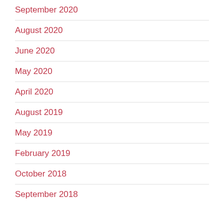September 2020
August 2020
June 2020
May 2020
April 2020
August 2019
May 2019
February 2019
October 2018
September 2018